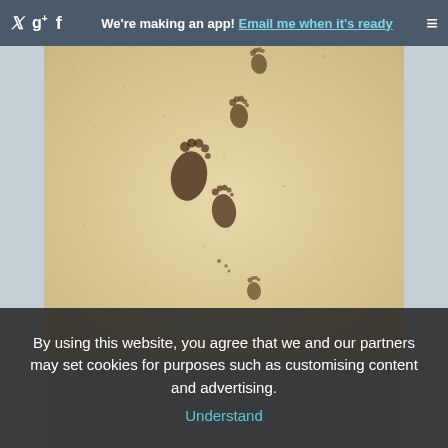We're making an app! Email me when it's ready
[Figure (photo): Photograph of footprints in sand on a beach, showing several bare footprints walking away into the distance]
By using this website, you agree that we and our partners may set cookies for purposes such as customising content and advertising. Understand